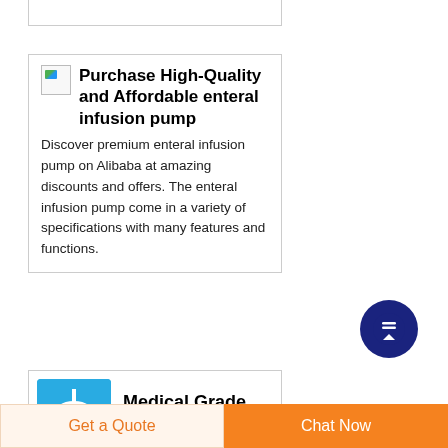[Figure (other): Top of a product card partially visible at top of page]
Purchase High-Quality and Affordable enteral infusion pump
Discover premium enteral infusion pump on Alibaba at amazing discounts and offers. The enteral infusion pump come in a variety of specifications with many features and functions.
[Figure (other): Back to top circular button with upward arrow, dark navy background]
[Figure (other): Medical tubing product thumbnail image on blue background]
Medical Grade PP disposable
Get a Quote
Chat Now